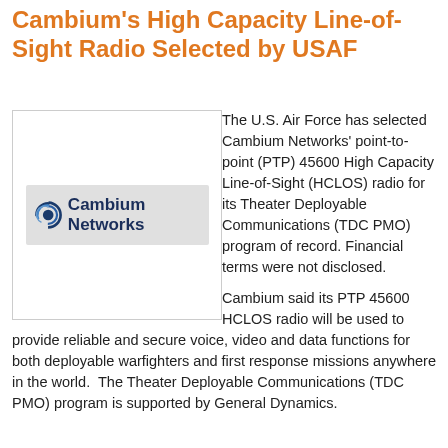Cambium's High Capacity Line-of-Sight Radio Selected by USAF
[Figure (logo): Cambium Networks logo: blue circular arc/globe icon to the left of the text 'Cambium Networks' in dark navy font, on a light grey banner background.]
The U.S. Air Force has selected Cambium Networks' point-to-point (PTP) 45600 High Capacity Line-of-Sight (HCLOS) radio for its Theater Deployable Communications (TDC PMO) program of record. Financial terms were not disclosed.
Cambium said its PTP 45600 HCLOS radio will be used to provide reliable and secure voice, video and data functions for both deployable warfighters and first response missions anywhere in the world.  The Theater Deployable Communications (TDC PMO) program is supported by General Dynamics.